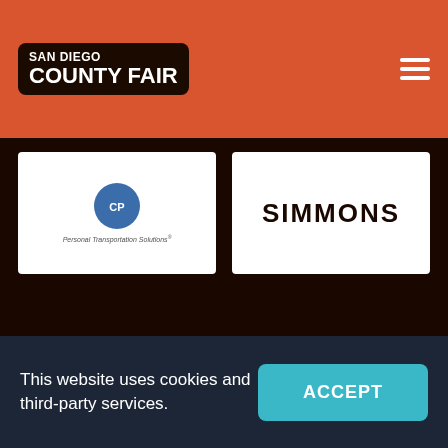San Diego County Fair
[Figure (logo): San Diego County Fair logo - white text on dark rounded rectangle background]
[Figure (illustration): Hamburger menu icon - three white horizontal lines on orange background]
[Figure (logo): Left sponsor card with circular blue logo and text 'Personal Transportation Solutions']
[Figure (logo): Right sponsor card with bold dark text 'SIMMONS' or similar]
This website uses cookies and third-party services.
ACCEPT